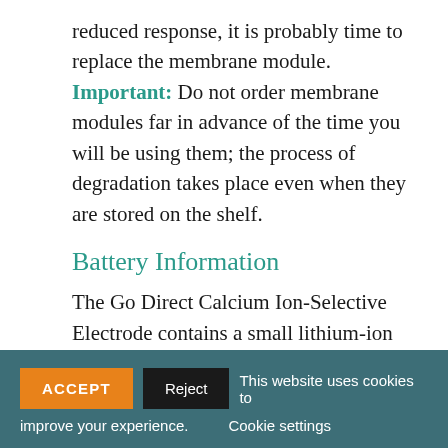reduced response, it is probably time to replace the membrane module. Important: Do not order membrane modules far in advance of the time you will be using them; the process of degradation takes place even when they are stored on the shelf.
Battery Information
The Go Direct Calcium Ion-Selective Electrode contains a small lithium-ion battery in the handle. The system is designed to consume very little power and not put heavy demands on the battery. Although the battery is warranted for one year, the expected battery life should be several years. Replacement
ACCEPT  Reject  This website uses cookies to improve your experience.  Cookie settings